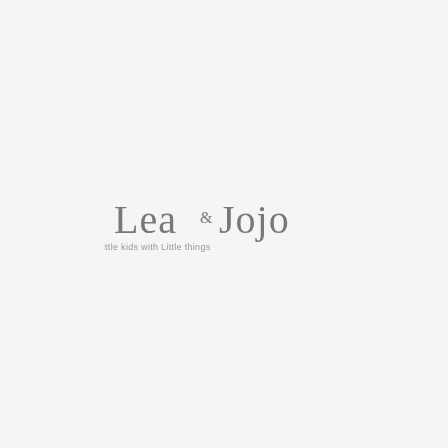[Figure (logo): Lea & Jojo logo in cursive/script style gray text with tagline 'Little kids with Little things' below in small sans-serif text]